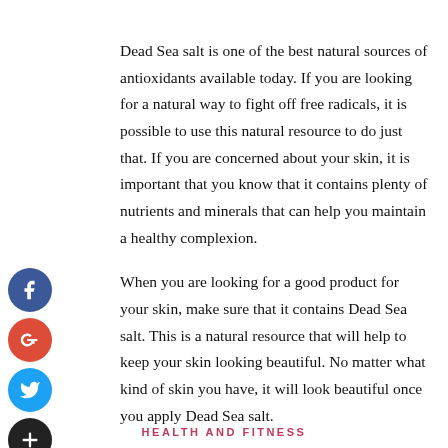Dead Sea salt is one of the best natural sources of antioxidants available today. If you are looking for a natural way to fight off free radicals, it is possible to use this natural resource to do just that. If you are concerned about your skin, it is important that you know that it contains plenty of nutrients and minerals that can help you maintain a healthy complexion.
When you are looking for a good product for your skin, make sure that it contains Dead Sea salt. This is a natural resource that will help to keep your skin looking beautiful. No matter what kind of skin you have, it will look beautiful once you apply Dead Sea salt.
HEALTH AND FITNESS